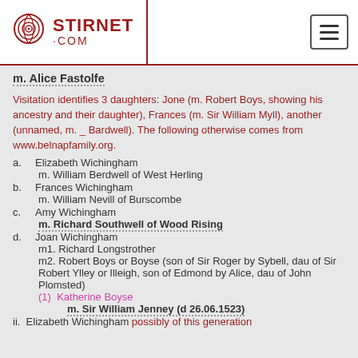[Figure (logo): Stirnet.com logo with fingerprint graphic]
m. Alice Fastolfe
Visitation identifies 3 daughters: Jone (m. Robert Boys, showing his ancestry and their daughter), Frances (m. Sir William Myll), another (unnamed, m. _ Bardwell). The following otherwise comes from www.belnapfamily.org.
a. Elizabeth Wichingham
   m. William Berdwell of West Herling
b. Frances Wichingham
   m. William Nevill of Burscombe
c. Amy Wichingham
   m. Richard Southwell of Wood Rising
d. Joan Wichingham
   m1. Richard Longstrother
   m2. Robert Boys or Boyse (son of Sir Roger by Sybell, dau of Sir Robert Ylley or Illeigh, son of Edmond by Alice, dau of John Plomsted)
   (1) Katherine Boyse
       m. Sir William Jenney (d 26.06.1523)
ii. Elizabeth Wichingham possibly of this generation